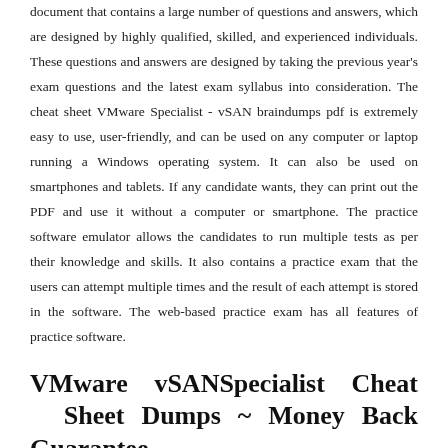document that contains a large number of questions and answers, which are designed by highly qualified, skilled, and experienced individuals. These questions and answers are designed by taking the previous year's exam questions and the latest exam syllabus into consideration. The cheat sheet VMware Specialist - vSAN braindumps pdf is extremely easy to use, user-friendly, and can be used on any computer or laptop running a Windows operating system. It can also be used on smartphones and tablets. If any candidate wants, they can print out the PDF and use it without a computer or smartphone. The practice software emulator allows the candidates to run multiple tests as per their knowledge and skills. It also contains a practice exam that the users can attempt multiple times and the result of each attempt is stored in the software. The web-based practice exam has all features of practice software.
VMware vSANSpecialist Cheat Sheet Dumps ~ Money Back Guarantee
CertsTime provides a 100% money-back guarantee to all its customers. Any candidate who is unable to clear the VMware Specialist - vSAN certification